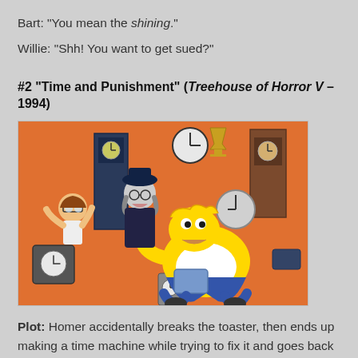Bart: "You mean the shining."
Willie: "Shh! You want to get sued?"
#2 "Time and Punishment" (Treehouse of Horror V – 1994)
[Figure (illustration): Animated scene from The Simpsons showing Homer Simpson floating among various clocks and timepieces on an orange background, with other cartoon characters visible.]
Plot: Homer accidentally breaks the toaster, then ends up making a time machine while trying to fix it and goes back to